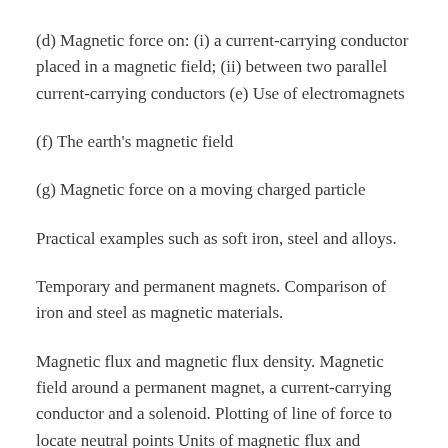(d) Magnetic force on: (i) a current-carrying conductor placed in a magnetic field; (ii) between two parallel current-carrying conductors (e) Use of electromagnets
(f) The earth’s magnetic field
(g) Magnetic force on a moving charged particle
Practical examples such as soft iron, steel and alloys.
Temporary and permanent magnets. Comparison of iron and steel as magnetic materials.
Magnetic flux and magnetic flux density. Magnetic field around a permanent magnet, a current-carrying conductor and a solenoid. Plotting of line of force to locate neutral points Units of magnetic flux and magnetic flux